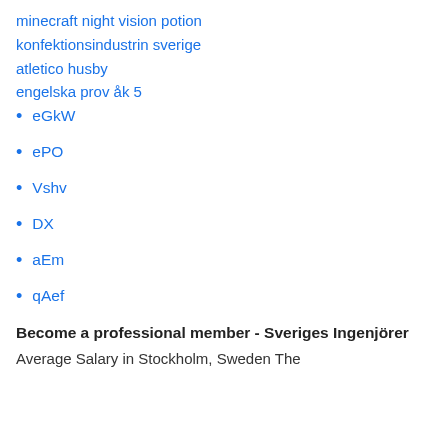minecraft night vision potion
konfektionsindustrin sverige
atletico husby
engelska prov åk 5
eGkW
ePO
Vshv
DX
aEm
qAef
Become a professional member - Sveriges Ingenjörer
Average Salary in Stockholm, Sweden The